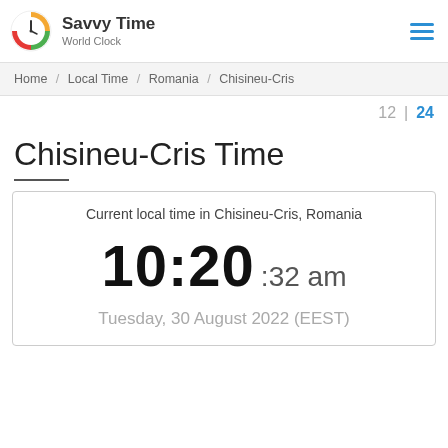[Figure (logo): Savvy Time World Clock logo with colorful clock icon and hamburger menu icon]
Home / Local Time / Romania / Chisineu-Cris
12 | 24
Chisineu-Cris Time
Current local time in Chisineu-Cris, Romania
10:20 :32 am
Tuesday, 30 August 2022 (EEST)